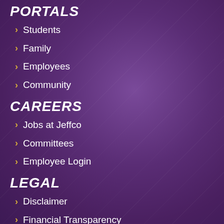PORTALS
Students
Family
Employees
Community
CAREERS
Jobs at Jeffco
Committees
Employee Login
LEGAL
Disclaimer
Financial Transparency
Title IX Policies and Procedures
Title 1 Information
Nondiscrimination Policies